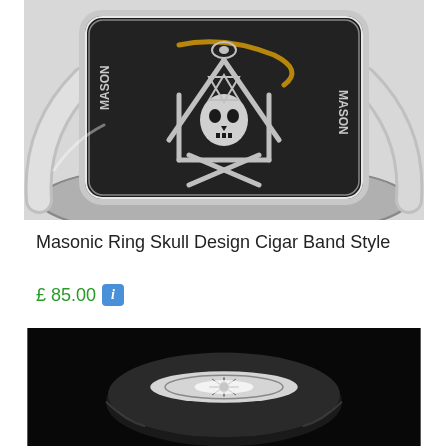[Figure (photo): Masonic ring with skull design cigar band style shown from above on a light grey background. Silver ring featuring skull and crossbones, compass and square Masonic symbols, with 'MASON' text on sides.]
Masonic Ring Skull Design Cigar Band Style
£ 85.00 ℹ
[Figure (photo): Second photo of the same or similar Masonic ring photographed against a black background with dramatic lighting, showing the top face of the ring with Masonic engravings.]